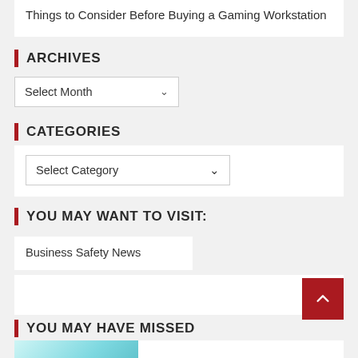Things to Consider Before Buying a Gaming Workstation
ARCHIVES
[Figure (screenshot): Dropdown select element labeled 'Select Month']
CATEGORIES
[Figure (screenshot): Dropdown select element labeled 'Select Category']
YOU MAY WANT TO VISIT:
Business Safety News
YOU MAY HAVE MISSED
[Figure (photo): Thumbnail image with teal/cyan gradient coloring, partially visible]